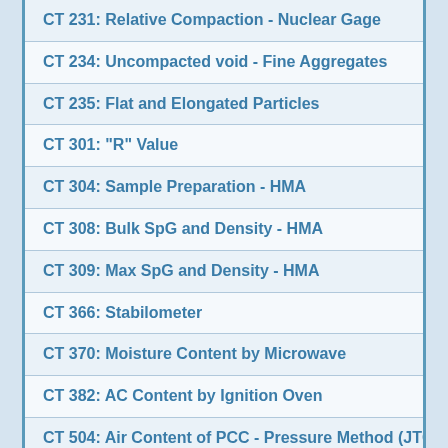CT 231: Relative Compaction - Nuclear Gage
CT 234: Uncompacted void - Fine Aggregates
CT 235: Flat and Elongated Particles
CT 301: "R" Value
CT 304: Sample Preparation - HMA
CT 308: Bulk SpG and Density - HMA
CT 309: Max SpG and Density - HMA
CT 366: Stabilometer
CT 370: Moisture Content by Microwave
CT 382: AC Content by Ignition Oven
CT 504: Air Content of PCC - Pressure Method (JTC
CT 518: Unit Weight - PCC (JTCP)